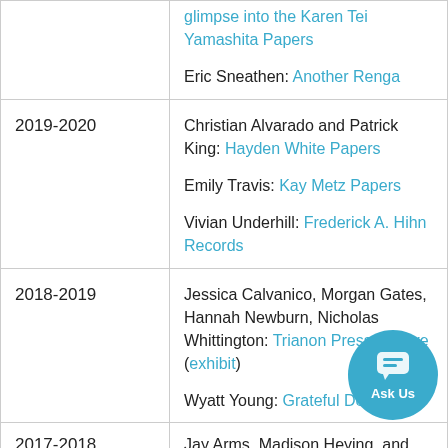| Year | Description |
| --- | --- |
|  | glimpse into the Karen Tei Yamashita Papers

Eric Sneathen: Another Renga |
| 2019-2020 | Christian Alvarado and Patrick King: Hayden White Papers

Emily Travis: Kay Metz Papers

Vivian Underhill: Frederick A. Hihn Records |
| 2018-2019 | Jessica Calvanico, Morgan Gates, Hannah Newburn, Nicholas Whittington: Trianon Press Archive (exhibit)

Wyatt Young: Grateful Dead A... |
| 2017-2018 | Jay Arms, Madison Heying, and Jon... |